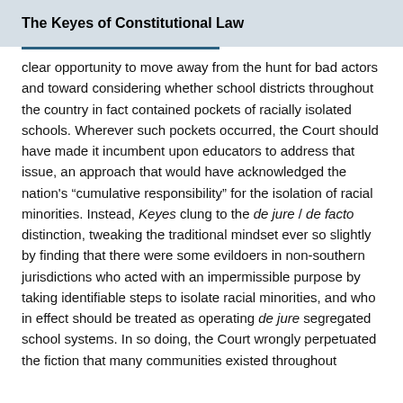The Keyes of Constitutional Law
clear opportunity to move away from the hunt for bad actors and toward considering whether school districts throughout the country in fact contained pockets of racially isolated schools. Wherever such pockets occurred, the Court should have made it incumbent upon educators to address that issue, an approach that would have acknowledged the nation's “cumulative responsibility” for the isolation of racial minorities. Instead, Keyes clung to the de jure / de facto distinction, tweaking the traditional mindset ever so slightly by finding that there were some evildoers in non-southern jurisdictions who acted with an impermissible purpose by taking identifiable steps to isolate racial minorities, and who in effect should be treated as operating de jure segregated school systems. In so doing, the Court wrongly perpetuated the fiction that many communities existed throughout